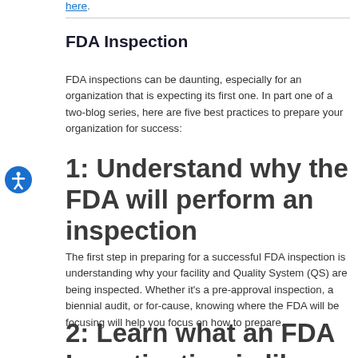here.
FDA Inspection
FDA inspections can be daunting, especially for an organization that is expecting its first one. In part one of a two-blog series, here are five best practices to prepare your organization for success:
1: Understand why the FDA will perform an inspection
The first step in preparing for a successful FDA inspection is understanding why your facility and Quality System (QS) are being inspected. Whether it's a pre-approval inspection, a biennial audit, or for-cause, knowing where the FDA will be focusing will help you focus on how to prepare.
2: Learn what an FDA Investigation is like